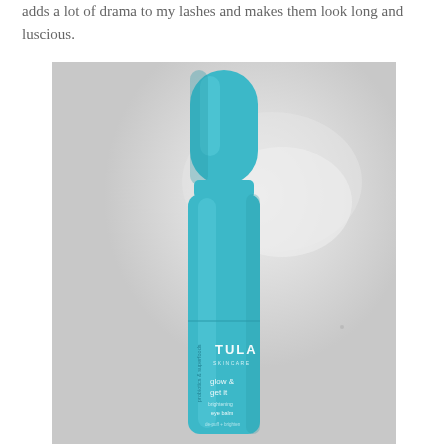adds a lot of drama to my lashes and makes them look long and luscious.
[Figure (photo): A turquoise/teal TULA Skincare 'glow & get it' brightening eye balm product in a cylindrical tube with cap, photographed against a light grey/white background.]